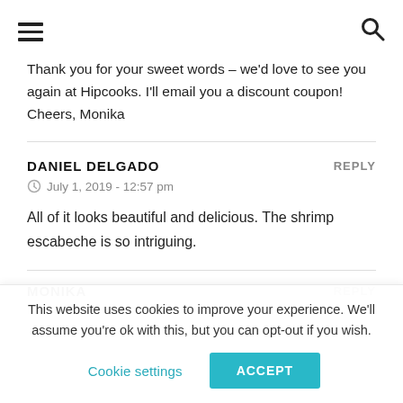[hamburger menu icon] [search icon]
Thank you for your sweet words – we'd love to see you again at Hipcooks. I'll email you a discount coupon! Cheers, Monika
DANIEL DELGADO
July 1, 2019 - 12:57 pm
All of it looks beautiful and delicious. The shrimp escabeche is so intriguing.
MONIKA
This website uses cookies to improve your experience. We'll assume you're ok with this, but you can opt-out if you wish.
Cookie settings  ACCEPT